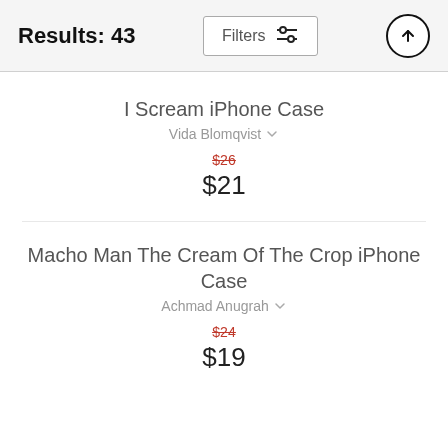Results: 43 | Filters | ↑
I Scream iPhone Case
Vida Blomqvist
$26 $21
Macho Man The Cream Of The Crop iPhone Case
Achmad Anugrah
$24 $19